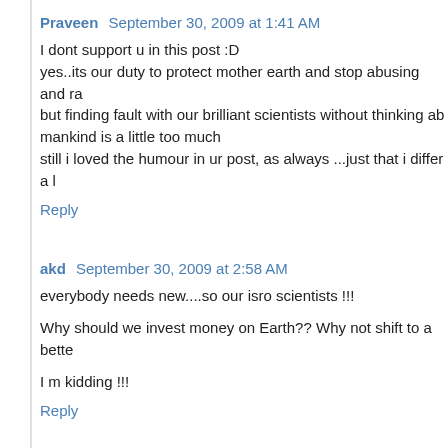Praveen  September 30, 2009 at 1:41 AM
I dont support u in this post :D
yes..its our duty to protect mother earth and stop abusing and ra
but finding fault with our brilliant scientists without thinking ab
mankind is a little too much
still i loved the humour in ur post, as always ...just that i differ a l
Reply
akd  September 30, 2009 at 2:58 AM
everybody needs new....so our isro scientists !!!
Why should we invest money on Earth?? Why not shift to a bette
I m kidding !!!
Reply
akd  September 30, 2009 at 2:58 AM
everybody needs new....so our isro scientists !!!